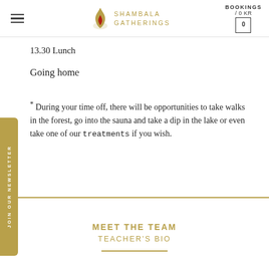SHAMBALA GATHERINGS | BOOKINGS / 0 KR
13.30 Lunch
Going home
* During your time off, there will be opportunities to take walks in the forest, go into the sauna and take a dip in the lake or even take one of our treatments if you wish.
MEET THE TEAM
TEACHER'S BIO